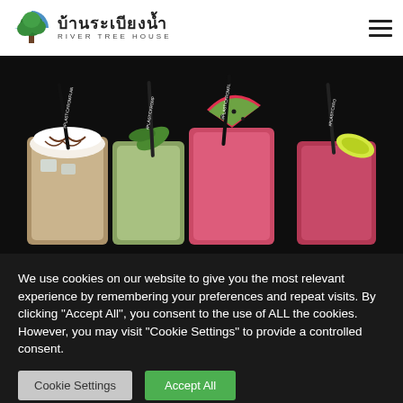บ้านระเบียงน้ำ RIVER TREE HOUSE
[Figure (photo): Colorful tropical drinks with straws labeled #PLASTICFROMPL... garnished with watermelon slice, pineapple, lime, and green leaves, on a dark background.]
We use cookies on our website to give you the most relevant experience by remembering your preferences and repeat visits. By clicking "Accept All", you consent to the use of ALL the cookies. However, you may visit "Cookie Settings" to provide a controlled consent.
Cookie Settings
Accept All